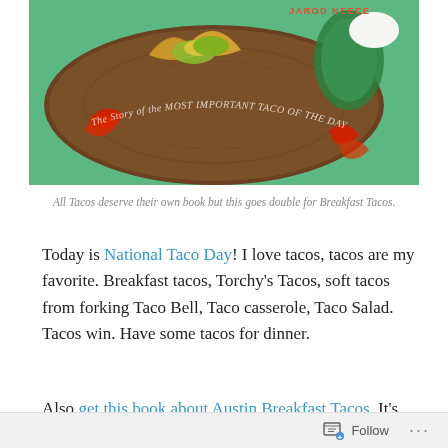[Figure (photo): Book cover of 'The Story of the Most Important Taco of the Day' by Jarod Neece, showing breakfast tacos on a wooden board against a green background]
All Tacos deserve their own book but this goes double for Breakfast Tacos.
Today is National Taco Day! I love tacos, tacos are my favorite. Breakfast tacos, Torchy's Tacos, soft tacos from forking Taco Bell, Taco casserole, Taco Salad. Tacos win. Have some tacos for dinner.
Also get this book about Austin Breakfast Tacos. It's
Follow ...